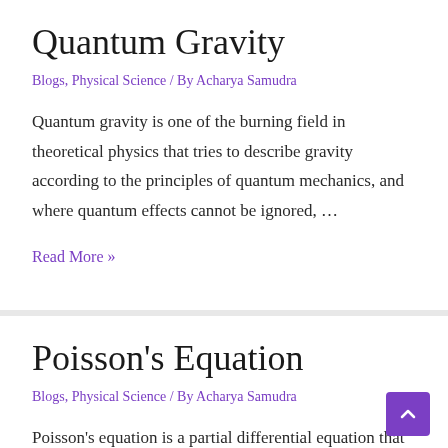Quantum Gravity
Blogs, Physical Science / By Acharya Samudra
Quantum gravity is one of the burning field in theoretical physics that tries to describe gravity according to the principles of quantum mechanics, and where quantum effects cannot be ignored, …
Read More »
Poisson's Equation
Blogs, Physical Science / By Acharya Samudra
Poisson's equation is a partial differential equation that has many